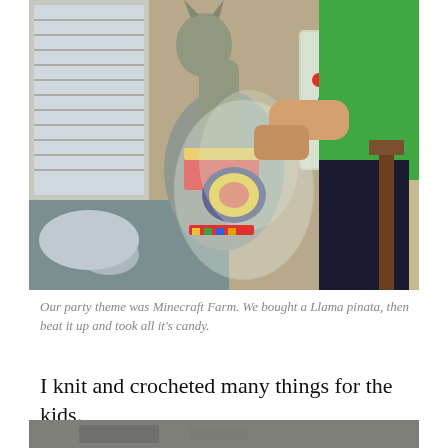[Figure (photo): A child in a green shirt holding a llama piñata wrapped in plastic, standing indoors near a window with blinds. The llama piñata is gray with colorful decorations.]
Our party theme was Minecraft Farm. We bought a Llama pinata, then beat it up and took all it's candy.
I knit and crocheted many things for the kids.
[Figure (photo): Partial view of another photo at the bottom of the page, appears to be a dark/gray textured image, partially cropped.]